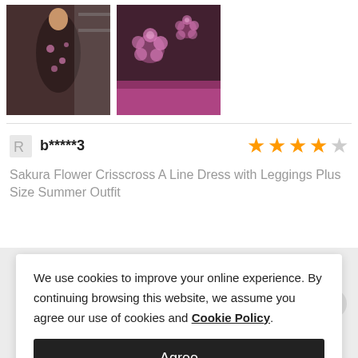[Figure (photo): Photo of a person wearing a dark floral dress, taken in a store/room setting]
[Figure (photo): Close-up photo of a dark purple/maroon floral fabric with pink sakura flower patterns]
b*****3
★★★★☆ (4 out of 5 stars)
Sakura Flower Crisscross A Line Dress with Leggings Plus Size Summer Outfit
We use cookies to improve your online experience. By continuing browsing this website, we assume you agree our use of cookies and Cookie Policy.
Agree